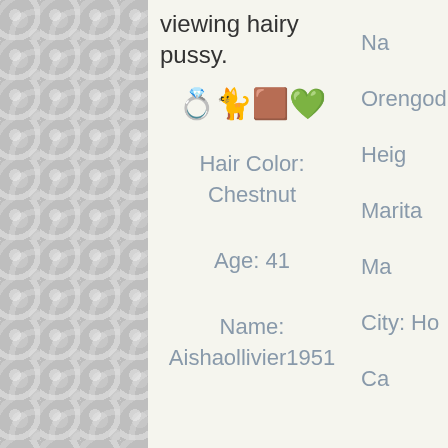viewing hairy pussy.
[Figure (illustration): Row of emoji/icon images: celebration emoji, cat photo, brown rectangle icon, green heart emoji]
Hair Color:
Chestnut
Age: 41
Name:
Aishaollivier1951
Na
Orengod
Heig
Marita
Ma
City: Ho
Ca